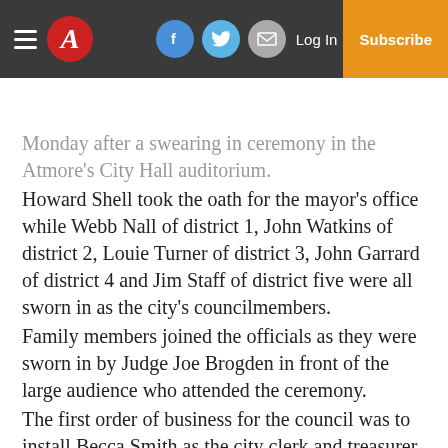≡ A  [facebook] [twitter] [email]  Log In  Subscribe
Monday after a swearing in ceremony in the Atmore's City Hall auditorium. Howard Shell took the oath for the mayor's office while Webb Nall of district 1, John Watkins of district 2, Louie Turner of district 3, John Garrard of district 4 and Jim Staff of district five were all sworn in as the city's councilmembers. Family members joined the officials as they were sworn in by Judge Joe Brogden in front of the large audience who attended the ceremony. The first order of business for the council was to install Becca Smith as the city clerk and treasurer. Shell made the recommendation and the council